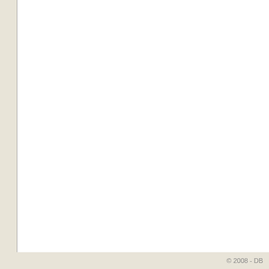|  |
| Tamagotchi |
| Weekly Shonen Jump |
| The Legend Of Zelda |
© 2008 - DB